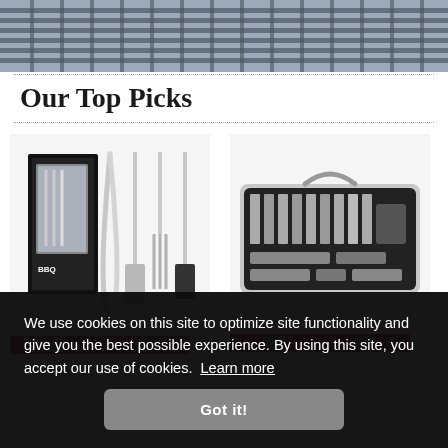[Figure (photo): Close-up photo of a grill grate with dark metallic bars, viewed from above]
Our Top Picks
[Figure (photo): BBQ grilling tool set — a black box with silver utensils including tongs, spatula, and brush displayed next to the box]
[Figure (photo): Open aluminum carrying case containing a full BBQ tool set with multiple grilling accessories arranged neatly]
We use cookies on this site to optimize site functionality and give you the best possible experience. By using this site, you accept our use of cookies. Learn more
Got it!